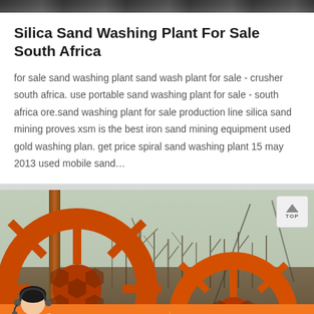[Figure (photo): Top strip of a dark outdoor scene, partially visible at the very top of the page]
Silica Sand Washing Plant For Sale South Africa
for sale sand washing plant sand wash plant for sale - crusher south africa. use portable sand washing plant for sale - south africa ore.sand washing plant for sale production line silica sand mining proves xsm is the best iron sand mining equipment used gold washing plan. get price spiral sand washing plant 15 may 2013 used mobile sand…
[Figure (photo): Industrial sand washing machinery - large orange wheel-type sand washers outdoors with trees in background. A TOP navigation button appears in upper right corner. Bottom overlay shows orange chat bar with person avatar, Message button, and Online Chat button.]